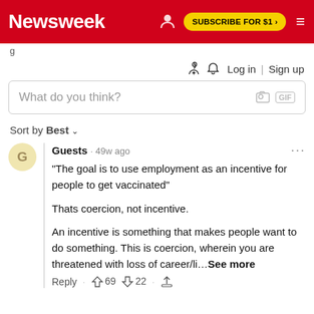Newsweek | SUBSCRIBE FOR $1 >
Log in | Sign up
What do you think?
Sort by Best
Guests · 49w ago
"The goal is to use employment as an incentive for people to get vaccinated"

Thats coercion, not incentive.

An incentive is something that makes people want to do something. This is coercion, wherein you are threatened with loss of career/li… See more
Reply · 👍 69 👎 22 · share